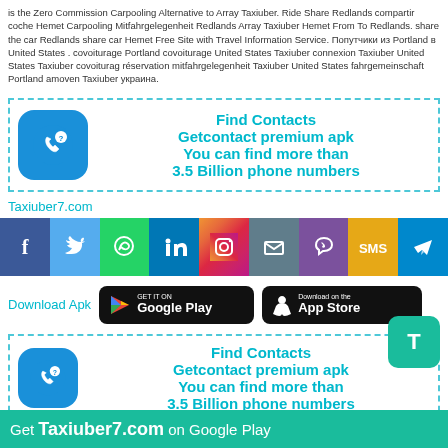is the Zero Commission Carpooling Alternative to Array Taxiuber. Ride Share Redlands compartir coche Hemet Carpooling Mitfahrgelegenheit Redlands Array Taxiuber Hemet From To Redlands. share the car Redlands share car Hemet Free Site with Travel Information Service. Попутчики из Portland в United States . covoiturage Portland covoiturage United States Taxiuber connexion Taxiuber United States Taxiuber covoiturag réservation mitfahrgelegenheit Taxiuber United States fahrgemeinschaft Portland amoven Taxiuber украина.
[Figure (infographic): Find Contacts promotional box with phone icon. Text: Find Contacts / Getcontact premium apk / You can find more than / 3.5 Billion phone numbers]
Taxiuber7.com
[Figure (infographic): Social media icons bar: Facebook, Twitter, WhatsApp, LinkedIn, Instagram, Email, Viber, SMS, Telegram]
[Figure (infographic): Download Apk row with Google Play and App Store buttons]
[Figure (infographic): Second Find Contacts promotional box with phone icon. Text: Find Contacts / Getcontact premium apk. T button overlay.]
Get Taxiuber7.com on Google Play